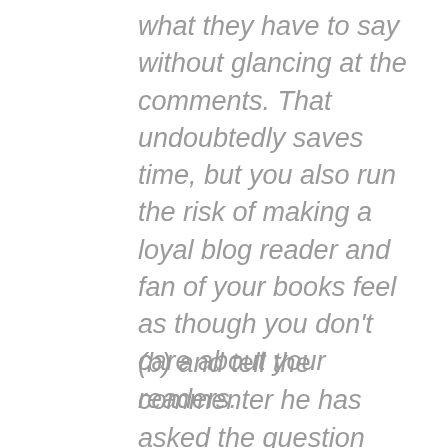what they have to say without glancing at the comments. That undoubtedly saves time, but you also run the risk of making a loyal blog reader and fan of your books feel as though you don't care about your readers.
(b) and tell the commenter he has asked the question